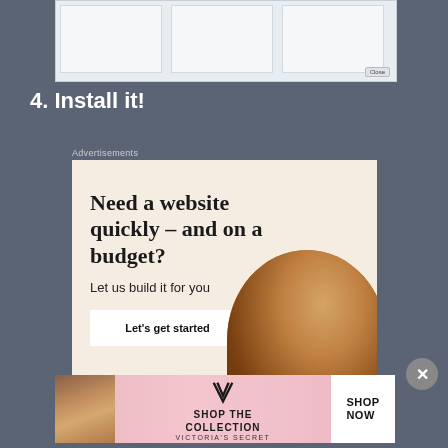[Figure (screenshot): A dialog or install window screenshot with three panel areas and a Close button, shown at top of page]
4. Install it!
Advertisements
[Figure (photo): WordPress advertisement: 'Need a website quickly – and on a budget? Let us build it for you' with a 'Let's get started' button, WordPress logo, and a circular photo of hands typing on a laptop]
[Figure (photo): Victoria's Secret banner advertisement: 'SHOP THE COLLECTION' with 'SHOP NOW' button, showing a woman's photo and Victoria's Secret logo]